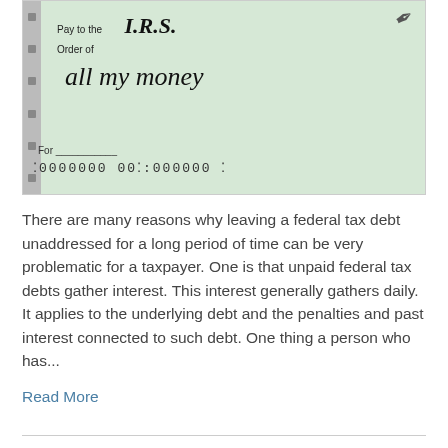[Figure (photo): Close-up photo of a check made out to I.R.S. with cursive text reading 'all my money', showing MICR numbers at the bottom and a pen tip visible at top right.]
There are many reasons why leaving a federal tax debt unaddressed for a long period of time can be very problematic for a taxpayer. One is that unpaid federal tax debts gather interest. This interest generally gathers daily. It applies to the underlying debt and the penalties and past interest connected to such debt. One thing a person who has...
Read More